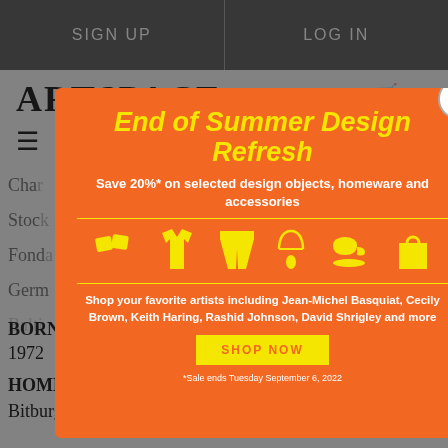SIGN UP | LOG IN
ARTSPACE
Char
Stoc
Fond
Germ
Balti
[Figure (screenshot): Modal advertisement overlay with orange background. Title: 'End of Summer Design Refresh'. Subtitle: 'Save 20%* on selected design objects, homeware and accessories'. Yellow icons of design objects (cushions, t-shirt, shorts, necklace, cup, tote bag). Text: 'Shop your favorite artists including Jean-Michel Basquiat, Cecily Brown, Keith Haring, Rashid Johnson, David Shrigley and more'. Yellow 'SHOP NOW' button. Footnote: '*Sale ends Tuesday September 6, 2022'.]
BORN
1972
HOMETOWN
Bitburg Air Base, Bitburg, Germany